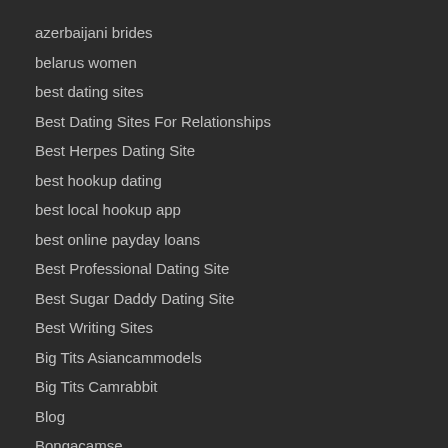azerbaijani brides
belarus women
best dating sites
Best Dating Sites For Relationships
Best Herpes Dating Site
best hookup dating
best local hookup app
best online payday loans
Best Professional Dating Site
Best Sugar Daddy Dating Site
Best Writing Sites
Big Tits Asiancammodels
Big Tits Camrabbit
Blog
Bongacamse
bookofmatches search